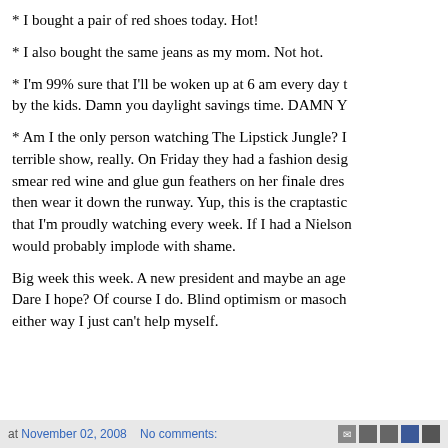* I bought a pair of red shoes today. Hot!
* I also bought the same jeans as my mom. Not hot.
* I'm 99% sure that I'll be woken up at 6 am every day t... by the kids. Damn you daylight savings time. DAMN Y...
* Am I the only person watching The Lipstick Jungle? I... terrible show, really. On Friday they had a fashion desig... smear red wine and glue gun feathers on her finale dres... then wear it down the runway. Yup, this is the craptastic... that I'm proudly watching every week. If I had a Nielson... would probably implode with shame.
Big week this week. A new president and maybe an age... Dare I hope? Of course I do. Blind optimism or masoch... either way I just can't help myself.
at November 02, 2008   No comments: